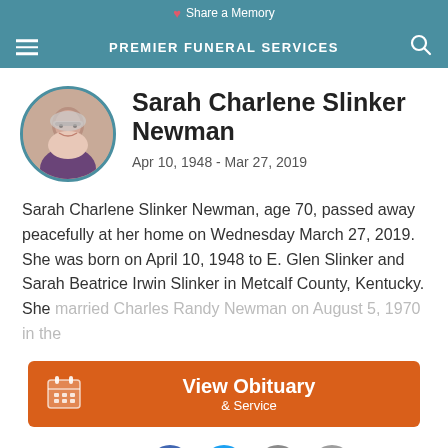Share a Memory | PREMIER FUNERAL SERVICES
[Figure (photo): Circular portrait photo of Sarah Charlene Slinker Newman, an elderly woman with short gray hair and glasses, wearing a purple top]
Sarah Charlene Slinker Newman
Apr 10, 1948 - Mar 27, 2019
Sarah Charlene Slinker Newman, age 70, passed away peacefully at her home on Wednesday March 27, 2019. She was born on April 10, 1948 to E. Glen Slinker and Sarah Beatrice Irwin Slinker in Metcalf County, Kentucky. She married Charles Randy Newman on August 5, 1970 in the
View Obituary & Service
Share